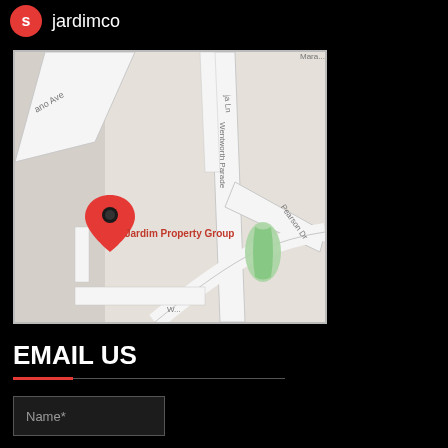jardimco
[Figure (map): Google Maps screenshot showing location of Jardim Property Group with a red map pin marker. Visible street names include Wentworth Parade, Pearson Dr, and ano Ave. A label reads 'Jardim Property Group'.]
EMAIL US
Name*